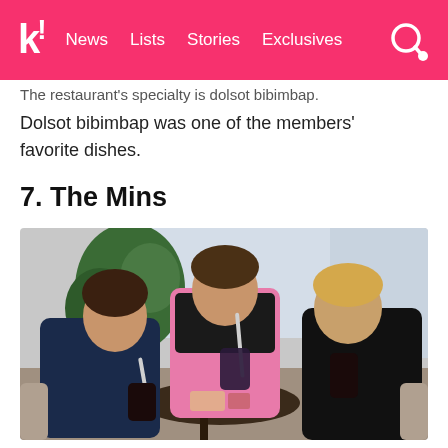k! News | Lists | Stories | Exclusives
The restaurant's specialty is dolsot bibimbap. Dolsot bibimbap was one of the members' favorite dishes.
7. The Mins
[Figure (photo): Three young men sitting at a round table in a cafe. The one on the left wears a dark blue jacket and drinks through a straw from a dark cup. The one in the middle wears a pink jacket and holds a drink with a straw. The one on the right has blonde hair, wears a black leather jacket, and holds a dark drink. There is a plant and large windows in the background.]